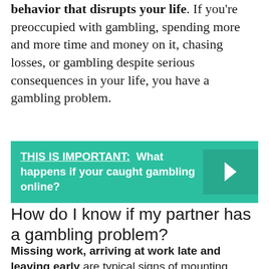behavior that disrupts your life. If you're preoccupied with gambling, spending more and more time and money on it, chasing losses, or gambling despite serious consequences in your life, you have a gambling problem.
[Figure (infographic): Teal/green banner with bold white text: THIS IS IMPORTANT: What happens if your caught gambling online? With a right arrow chevron on the right side.]
How do I know if my partner has a gambling problem?
Missing work, arriving at work late and leaving early are typical signs of mounting problems with gambling. Using sick days to get off work to gamble is another telltale